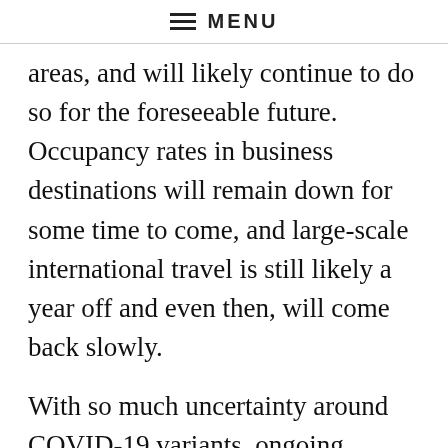≡ MENU
areas, and will likely continue to do so for the foreseeable future. Occupancy rates in business destinations will remain down for some time to come, and large-scale international travel is still likely a year off and even then, will come back slowly.
With so much uncertainty around COVID-19 variants, ongoing booster vaccines and vaccine passports, nobody should be counting on a flood of international tourists anytime soon. Instead, we need to think of revenue from international tourism as the gravy, not a primary